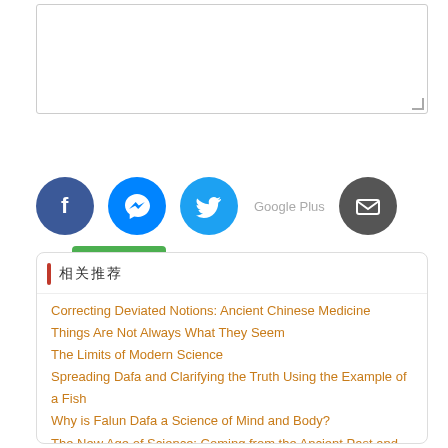[Figure (screenshot): Textarea input box with resize handle]
[Figure (screenshot): Green Save button with checkmark icon]
[Figure (screenshot): Social sharing icons row: Facebook, Messenger, Twitter, Google Plus (broken image), Email]
相关推荐
Correcting Deviated Notions: Ancient Chinese Medicine
Things Are Not Always What They Seem
The Limits of Modern Science
Spreading Dafa and Clarifying the Truth Using the Example of a Fish
Why is Falun Dafa a Science of Mind and Body?
The New Age of Science: Coming from the Ancient Past and Racing
Modern Science Is Based on Atheism
Science Needs an Open Mind
Thoughts Arising From Chinese vs. Western Tooth-Pulling
A General Discussion on Gods and Science